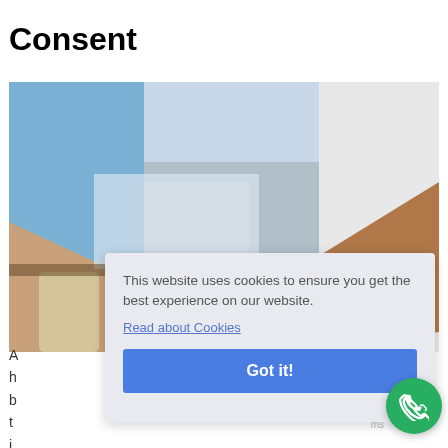Consent
[Figure (photo): Two people shaking hands in an office or outdoor setting, close-up of the handshake.]
A
h
b
t
i
This website uses cookies to ensure you get the best experience on our website.
Read about Cookies
Got it!